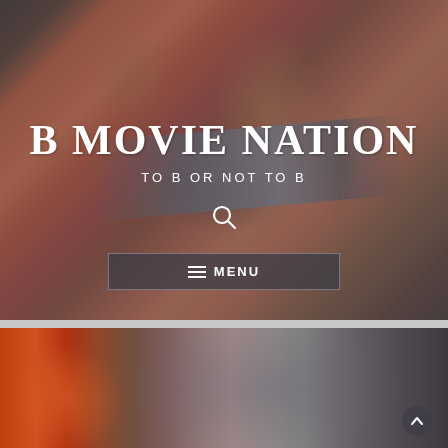[Figure (illustration): Comic-style illustration of a muscular figure holding a large rifle/gun, with orange and red tones, overlaid with a semi-transparent gray panel]
B MOVIE NATION
TO B OR NOT TO B
[Figure (other): Search icon (magnifying glass) in white]
≡ MENU
[Figure (photo): Dark moody image with orange/red glow on left side fading to gray, bottom section of website]
[Figure (other): Scroll-to-top arrow button in bottom right corner]